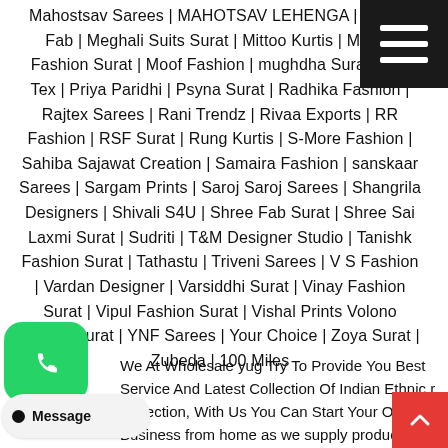Mahostsav Sarees | MAHOTSAV LEHENGA | Manas Fab | Meghali Suits Surat | Mittoo Kurtis | Mohini Fashion Surat | Moof Fashion | mughdha Surat | Om Tex | Priya Paridhi | Psyna Surat | Radhika Fashion | Rajtex Sarees | Rani Trendz | Rivaa Exports | RR Fashion | RSF Surat | Rung Kurtis | S-More Fashion | Sahiba Sajawat Creation | Samaira Fashion | sanskaar Sarees | Sargam Prints | Saroj Saroj Sarees | Shangrila Designers | Shivali S4U | Shree Fab Surat | Shree Sai Laxmi Surat | Sudriti | T&M Designer Studio | Tanishk Fashion Surat | Tathastu | Triveni Sarees | V S Fashion | Vardan Designer | Varsiddhi Surat | Vinay Fashion Surat | Vipul Fashion Surat | Vishal Prints Volono Trendz Surat | YNF Sarees | Your Choice | Zoya Surat | Zubeda | 100 Miles
We At Wholesale yug Try To Provide You Best Service And Latest Collection Of Indian Ethnic r Collection, With Us You Can Start Your Own Business from home as we supply products like